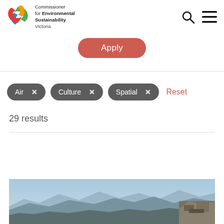Commissioner for Environmental Sustainability Victoria
Apply
Air ×
Culture ×
Spatial ×
Reset
29 results
[Figure (photo): Mountain landscape photograph showing rocky terrain and mountain ridges under a blue sky]